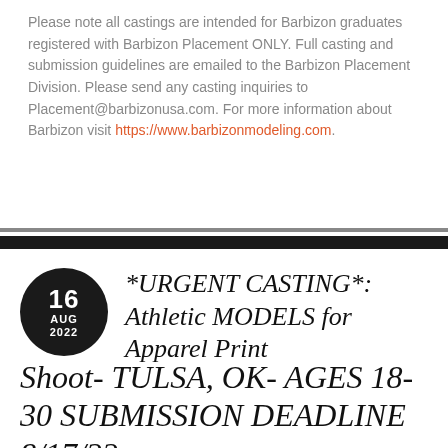Please note all castings are intended for Barbizon graduates registered with Barbizon Placement ONLY. Full casting and submission guidelines are emailed to the Barbizon Placement Division. Please send any casting inquiries to Placement@barbizonusa.com. For more information about Barbizon visit https://www.barbizonmodeling.com.
*URGENT CASTING*: Athletic MODELS for Apparel Print Shoot- TULSA, OK- AGES 18-30 SUBMISSION DEADLINE 8/17/22